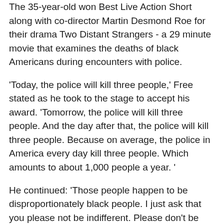The 35-year-old won Best Live Action Short along with co-director Martin Desmond Roe for their drama Two Distant Strangers - a 29 minute movie that examines the deaths of black Americans during encounters with police.
'Today, the police will kill three people,' Free stated as he took to the stage to accept his award. 'Tomorrow, the police will kill three people. And the day after that, the police will kill three people. Because on average, the police in America every day kill three people. Which amounts to about 1,000 people a year. '
He continued: 'Those people happen to be disproportionately black people. I just ask that you please not be indifferent. Please don't be indifferent to our pain.
Earlier, as he walked the red carpet, Free also made a